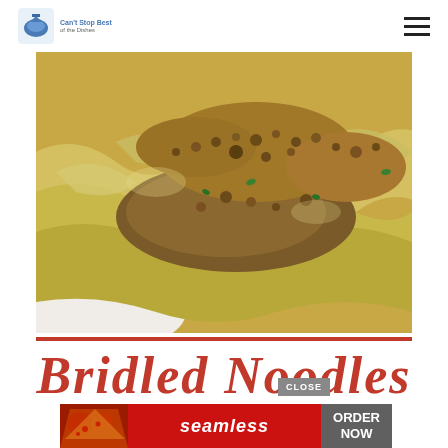Can't Stop Eating of the Dishes - Logo and navigation
[Figure (photo): Close-up photo of Bridled Noodles dish in a white casserole dish, showing egg noodles topped with crumbled meat and breadcrumb topping, garnished with fresh green herbs/parsley]
Bridled Noodles
[Figure (screenshot): Advertisement banner for Seamless food ordering service showing pizza image on left, red Seamless logo in center, and 'ORDER NOW' button on right with dark background]